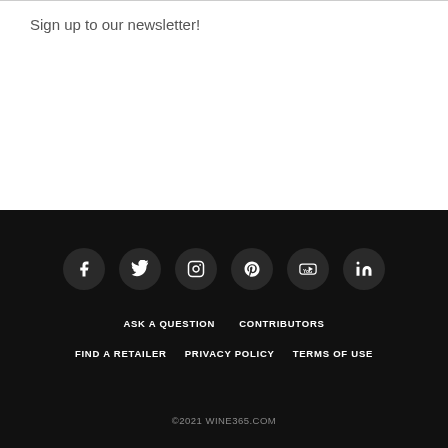Sign up to our newsletter!
[Figure (other): Social media icon circles: Facebook, Twitter, Instagram, Pinterest, YouTube, LinkedIn]
ASK A QUESTION
CONTRIBUTORS
FIND A RETAILER
PRIVACY POLICY
TERMS OF USE
©2021 WINE365.COM